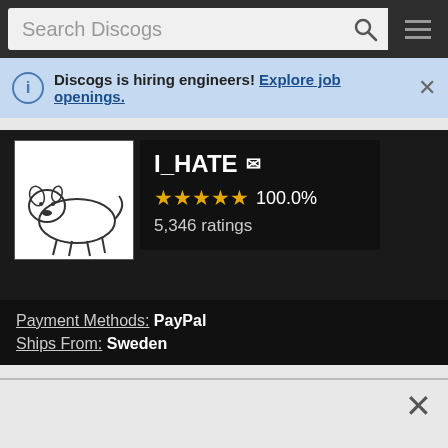[Figure (screenshot): Discogs website search bar with dark background, search input field, magnifying glass icon, and hamburger menu icon]
Discogs is hiring engineers! Explore job openings.
[Figure (logo): I_HATE seller logo showing a crouching animal illustration with text IHATE and www.ihate.se]
I_HATE ✉ ★★★★★ 100.0% 5,346 ratings
Payment Methods: PayPal Ships From: Sweden